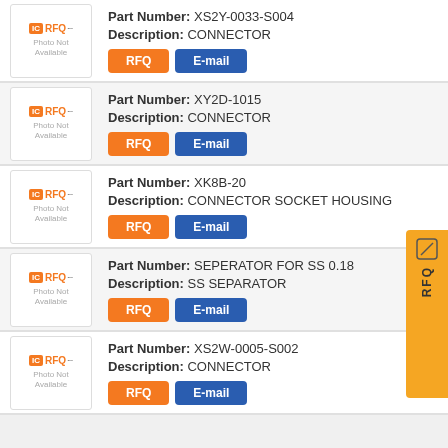Part Number: XS2Y-0033-S004 | Description: CONNECTOR | Buttons: RFQ, E-mail
Part Number: XY2D-1015 | Description: CONNECTOR | Buttons: RFQ, E-mail
Part Number: XK8B-20 | Description: CONNECTOR SOCKET HOUSING | Buttons: RFQ, E-mail
Part Number: SEPERATOR FOR SS 0.18 | Description: SS SEPARATOR | Buttons: RFQ, E-mail
Part Number: XS2W-0005-S002 | Description: CONNECTOR | Buttons: RFQ, E-mail